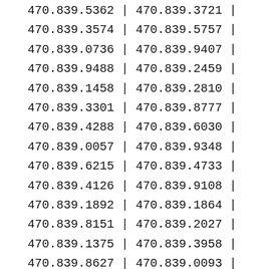| Col1 | Sep | Col2 | Sep2 |
| --- | --- | --- | --- |
| 470.839.5362 | | | 470.839.3721 | | |
| 470.839.3574 | | | 470.839.5757 | | |
| 470.839.0736 | | | 470.839.9407 | | |
| 470.839.9488 | | | 470.839.2459 | | |
| 470.839.1458 | | | 470.839.2810 | | |
| 470.839.3301 | | | 470.839.8777 | | |
| 470.839.4288 | | | 470.839.6030 | | |
| 470.839.0057 | | | 470.839.9348 | | |
| 470.839.6215 | | | 470.839.4733 | | |
| 470.839.4126 | | | 470.839.9108 | | |
| 470.839.1892 | | | 470.839.1864 | | |
| 470.839.8151 | | | 470.839.2027 | | |
| 470.839.1375 | | | 470.839.3958 | | |
| 470.839.8627 | | | 470.839.0093 | | |
| 470.839.4308 | | | 470.839.9571 | | |
| 470.839.2673 | | | 470.839.9010 | | |
| 470.839.0790 | | | 470.839.4227 | | |
| 470.839.0705 | | | 470.839.2322 | | |